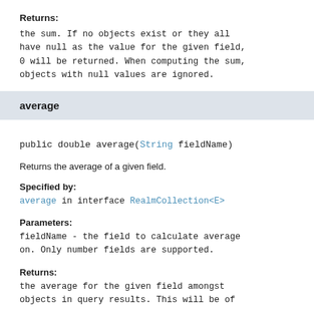Returns:
the sum. If no objects exist or they all have null as the value for the given field, 0 will be returned. When computing the sum, objects with null values are ignored.
average
public double average(String fieldName)
Returns the average of a given field.
Specified by:
average in interface RealmCollection<E>
Parameters:
fieldName - the field to calculate average on. Only number fields are supported.
Returns:
the average for the given field amongst objects in query results. This will be of